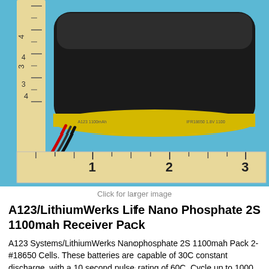[Figure (photo): A black cylindrical battery pack (A123/LithiumWerks Life Nano Phosphate 2S 1100mah) with a yellow label and red/black wires, photographed next to a ruler showing measurements from 1 to 3 inches, on a blue background.]
Click for larger image
A123/LithiumWerks Life Nano Phosphate 2S 1100mah Receiver Pack
A123 Systems/LithiumWerks Nanophosphate 2S 1100mah Pack 2-#18650 Cells. These batteries are capable of 30C constant discharge, with a 10 second pulse rating of 60C. Cycle up to 1000 times before